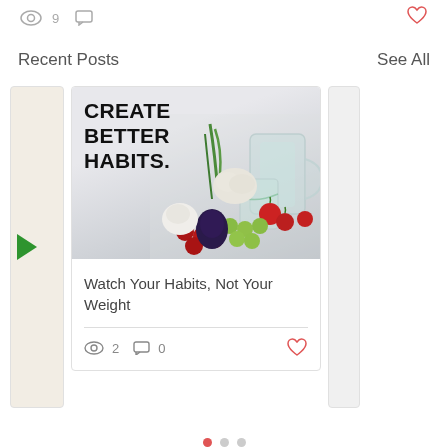[Figure (screenshot): Top partial bar with eye icon showing 9 views, comment icon, and red heart icon on the right]
Recent Posts
See All
[Figure (photo): Blog post card with image showing 'CREATE BETTER HABITS.' text overlay and vegetables/fruits photo. Post title: 'Watch Your Habits, Not Your Weight'. Stats: 2 views, 0 comments, heart like button.]